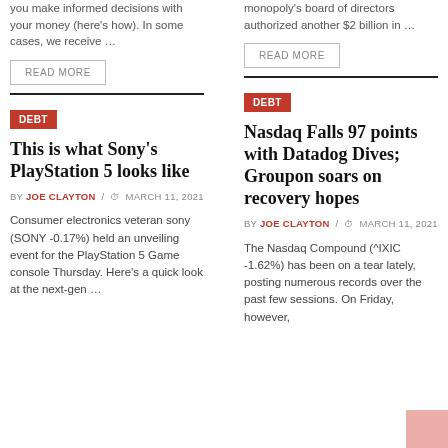you make informed decisions with your money (here's how). In some cases, we receive …
monopoly's board of directors authorized another $2 billion in …
READ MORE
READ MORE
DEBT
DEBT
This is what Sony's PlayStation 5 looks like
Nasdaq Falls 97 points with Datadog Dives; Groupon soars on recovery hopes
BY JOE CLAYTON / 🕐 MARCH 11, 2021
BY JOE CLAYTON / 🕐 MARCH 11, 2021
Consumer electronics veteran sony (SONY -0.17%) held an unveiling event for the PlayStation 5 Game console Thursday. Here's a quick look at the next-gen …
The Nasdaq Compound (^IXIC -1.62%) has been on a tear lately, posting numerous records over the past few sessions. On Friday, however,